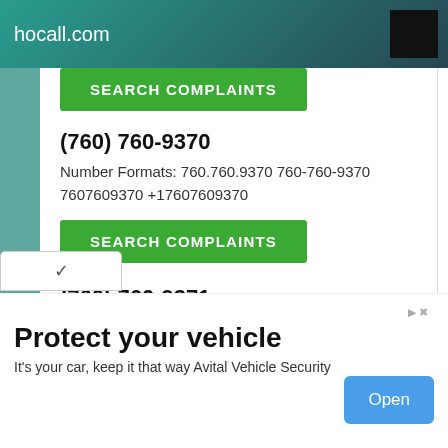hocall.com
SEARCH COMPLAINTS
(760) 760-9370
Number Formats: 760.760.9370 760-760-9370 7607609370 +17607609370
SEARCH COMPLAINTS
(760) 760-9371
Number Formats: 760.760.9371 760-760-9371 7607609371 +17607609371
SEARCH COMPLAINTS
Protect your vehicle
It's your car, keep it that way Avital Vehicle Security